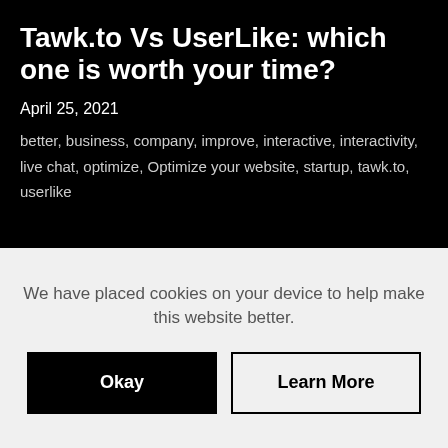Tawk.to Vs UserLike: which one is worth your time?
April 25, 2021
better, business, company, improve, interactive, interactivity, live chat, optimize, Optimize your website, startup, tawk.to, userlike
We have placed cookies on your device to help make this website better.
Okay
Learn More